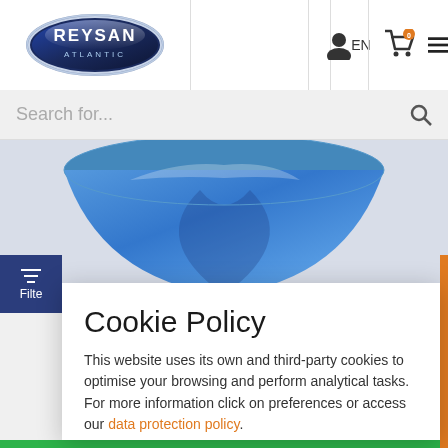[Figure (screenshot): Reysan Atlantic logo with oval chrome border and blue gradient]
EN
[Figure (illustration): User account icon]
[Figure (illustration): Shopping cart icon with orange badge showing 0]
[Figure (illustration): Hamburger menu icon]
Search for...
[Figure (photo): Blue plastic bowl/container partially visible]
Filter
Cookie Policy
This website uses its own and third-party cookies to optimise your browsing and perform analytical tasks. For more information click on preferences or access our data protection policy.
Accept all
Preferences
20.40 €